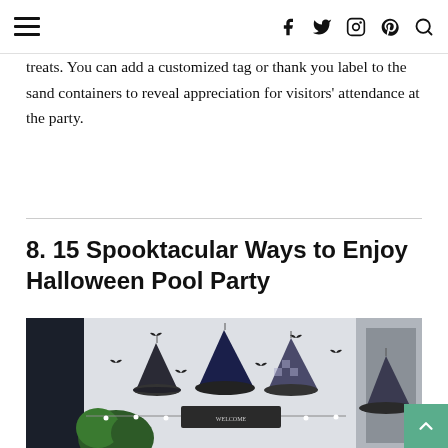[navigation bar with hamburger menu and social icons: facebook, twitter, instagram, pinterest, search]
treats. You can add a customized tag or thank you label to the sand containers to reveal appreciation for visitors' attendance at the party.
8. 15 Spooktacular Ways to Enjoy Halloween Pool Party
[Figure (photo): Indoor space decorated for Halloween with hanging witch hats and black bat cutouts on a white wall, string lights, and greenery.]